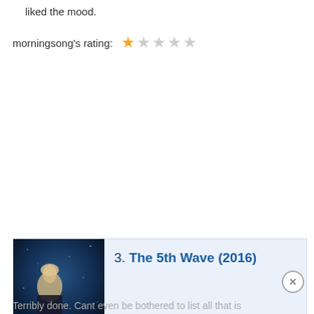liked the mood.
morningsong's rating: ★☆☆☆☆
[Figure (other): Movie listing card for The 5th Wave (2016) with movie poster thumbnail and light blue background]
Terribly done. Cant even be bothered to list all that is